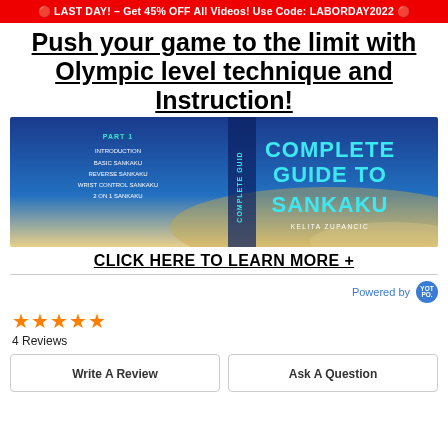🔴 LAST DAY! – Get 45% OFF All Videos! Use Code: LABORDAY2022 🔴
Push your game to the limit with Olympic level technique and Instruction!
[Figure (photo): Complete Guide to Sankaku video cover showing blue background with COMPLETE GUIDE TO SANKAKU text and Kelita Zupancic name, with chapter list on the left: Part 1 - Introduction, Basic Sankaku, Reverse Sankaku, Wrist Control Sankaku, 2 on 1 Sankaku]
CLICK HERE TO LEARN MORE +
Powered by Yotpo
★★★★★
4 Reviews
Write A Review    Ask A Question